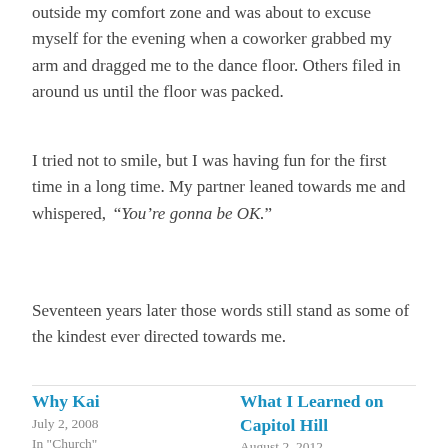outside my comfort zone and was about to excuse myself for the evening when a coworker grabbed my arm and dragged me to the dance floor. Others filed in around us until the floor was packed.
I tried not to smile, but I was having fun for the first time in a long time. My partner leaned towards me and whispered, “You’re gonna be OK.”
Seventeen years later those words still stand as some of the kindest ever directed towards me.
Why Kai
July 2, 2008
In "Church"
What I Learned on Capitol Hill
August 2, 2012
In "Kindness"